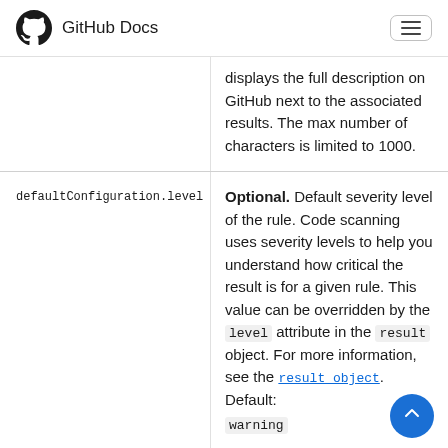GitHub Docs
displays the full description on GitHub next to the associated results. The max number of characters is limited to 1000.
| Field | Description |
| --- | --- |
| defaultConfiguration.level | Optional. Default severity level of the rule. Code scanning uses severity levels to help you understand how critical the result is for a given rule. This value can be overridden by the level attribute in the result object. For more information, see the result object. Default: warning |